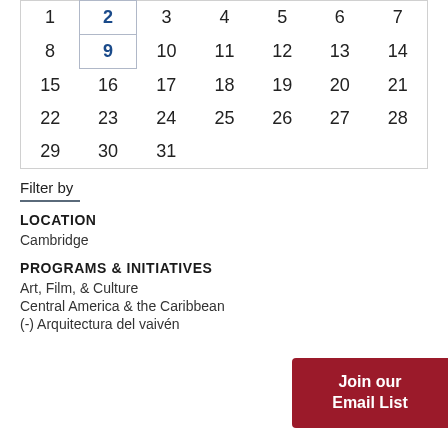| 1 | 2 | 3 | 4 | 5 | 6 | 7 |
| 8 | 9 | 10 | 11 | 12 | 13 | 14 |
| 15 | 16 | 17 | 18 | 19 | 20 | 21 |
| 22 | 23 | 24 | 25 | 26 | 27 | 28 |
| 29 | 30 | 31 |  |  |  |  |
Filter by
LOCATION
Cambridge
PROGRAMS & INITIATIVES
Art, Film, & Culture
Central America & the Caribbean
(-) Arquitectura del vaivén
Join our Email List